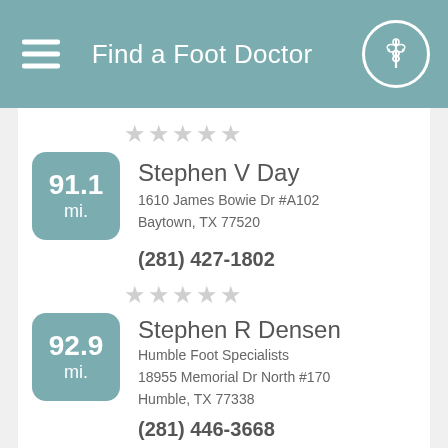Find a Foot Doctor
[Figure (illustration): 5 empty star rating icons for first listing]
91.1 mi. — Stephen V Day, 1610 James Bowie Dr #A102, Baytown, TX 77520, (281) 427-1802
[Figure (illustration): 5 empty star rating icons for second listing]
92.9 mi. — Stephen R Densen, Humble Foot Specialists, 18955 Memorial Dr North #170, Humble, TX 77338, (281) 446-3668